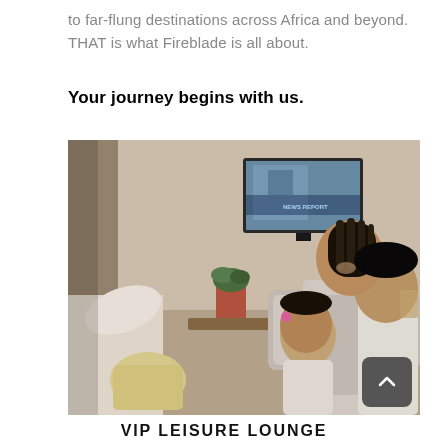to far-flung destinations across Africa and beyond. THAT is what Fireblade is all about.
Your journey begins with us.
[Figure (photo): A smiling woman with two children in a VIP lounge setting, with a TV screen visible in the background and a potted plant on a table.]
VIP LEISURE LOUNGE